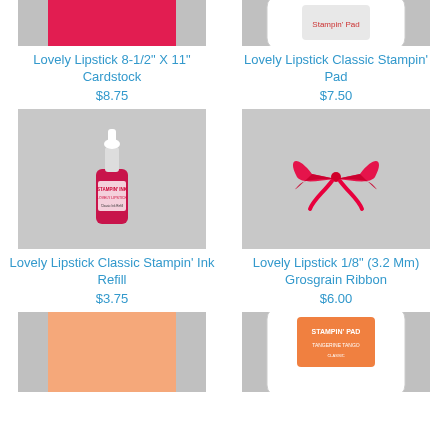[Figure (photo): Lovely Lipstick pink cardstock sheet on gray background, partially visible at top]
[Figure (photo): Lovely Lipstick Classic Stampin' Pad ink pad on gray background, partially visible at top]
Lovely Lipstick 8-1/2" X 11" Cardstock
$8.75
Lovely Lipstick Classic Stampin' Pad
$7.50
[Figure (photo): Lovely Lipstick Classic Stampin' Ink Refill bottle on gray background]
[Figure (photo): Lovely Lipstick ribbon bow on gray background]
Lovely Lipstick Classic Stampin' Ink Refill
$3.75
Lovely Lipstick 1/8" (3.2 Mm) Grosgrain Ribbon
$6.00
[Figure (photo): Peach/apricot colored cardstock sheet on gray background, partially visible]
[Figure (photo): Orange Stampin' Pad on gray background, partially visible]